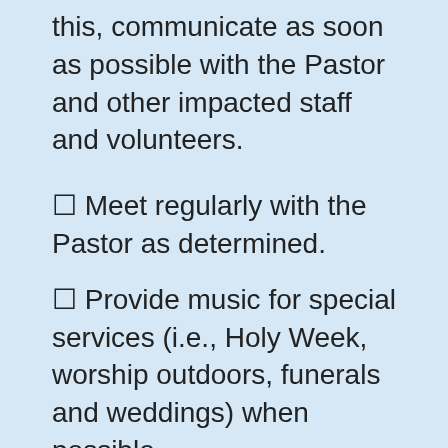this, communicate as soon as possible with the Pastor and other impacted staff and volunteers.
☐ Meet regularly with the Pastor as determined.
☐ Provide music for special services (i.e., Holy Week, worship outdoors, funerals and weddings) when possible.
Applicants should send a letter of interest and resume as soon as possible to pastorjames[AT]peacefellowshipchurch.org Please browse the church's website in order to get a feel for the church's mission and general ethos. You can listen to sermons there, learn more about our leadership, history, and mission, and view photos from several recent events. We are an